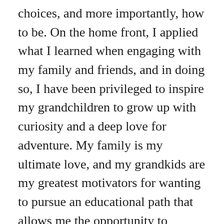choices, and more importantly, how to be. On the home front, I applied what I learned when engaging with my family and friends, and in doing so, I have been privileged to inspire my grandchildren to grow up with curiosity and a deep love for adventure. My family is my ultimate love, and my grandkids are my greatest motivators for wanting to pursue an educational path that allows me the opportunity to inspire a young mind. Taking a moment to reflect, I have come full circle. Evaluating the things that I have done, and the strides I have made towards positive professional growth, I return to the place where it all began, school and child care. View more posts